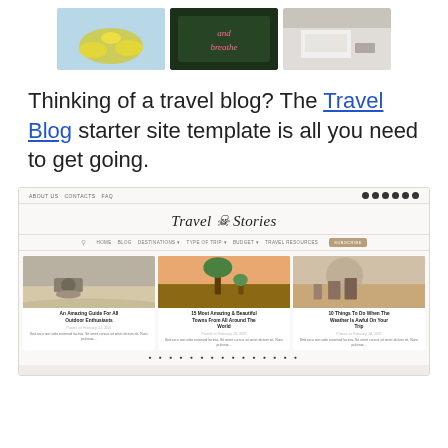[Figure (screenshot): Three thumbnail images: yellow capsules on blue background, neon 'and breathe' sign on green leaves, white bedroom]
Thinking of a travel blog? The Travel Blog starter site template is all you need to get going.
[Figure (screenshot): Screenshot of a travel blog website called 'Travel Stories' showing navigation bar, three blog post cards with images: 'An Amazing Guide For All Outdoor Enthusiasts', '15 Most Amazing & Beautiful Towns From All Around The World', '10 Things To Do When The Weather Is Awful On Your Trip']